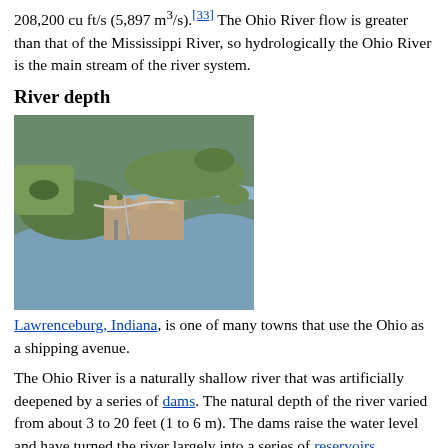208,200 cu ft/s (5,897 m³/s).[33] The Ohio River flow is greater than that of the Mississippi River, so hydrologically the Ohio River is the main stream of the river system.
River depth
[Figure (photo): Aerial photograph of Lawrenceburg, Indiana showing the Ohio River and surrounding landscape with town and industrial facilities]
Lawrenceburg, Indiana, is one of many towns that use the Ohio as a shipping avenue.
The Ohio River is a naturally shallow river that was artificially deepened by a series of dams. The natural depth of the river varied from about 3 to 20 feet (1 to 6 m). The dams raise the water level and have turned the river largely into a series of reservoirs, eliminating shallow stretches and allowing for commercial navigation. From its origin to Cincinnati, the average depth is approximately 15 feet (5 m). The largest immediate drop in water